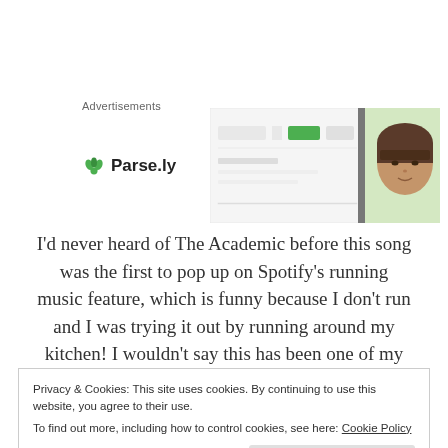Advertisements
[Figure (logo): Parse.ly logo with green leaf icon and bold text, alongside an advertisement screenshot showing a web interface with a woman's face]
I'd never heard of The Academic before this song was the first to pop up on Spotify's running music feature, which is funny because I don't run and I was trying it out by running around my kitchen! I wouldn't say this has been one of my favourites this month, but I still think it's worth a mention, it is
Privacy & Cookies: This site uses cookies. By continuing to use this website, you agree to their use.
To find out more, including how to control cookies, see here: Cookie Policy
Close and accept
were different from last month's, with the exception of Got